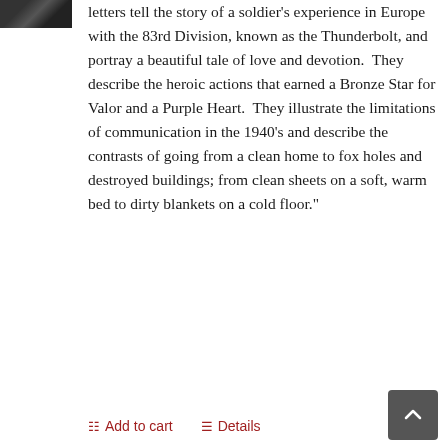[Figure (photo): Partial image of a book or scene, dark toned photo cropped at top left]
letters tell the story of a soldier's experience in Europe with the 83rd Division, known as the Thunderbolt, and portray a beautiful tale of love and devotion.  They describe the heroic actions that earned a Bronze Star for Valor and a Purple Heart.  They illustrate the limitations of communication in the 1940's and describe the contrasts of going from a clean home to fox holes and destroyed buildings; from clean sheets on a soft, warm bed to dirty blankets on a cold floor."
Add to cart
Details